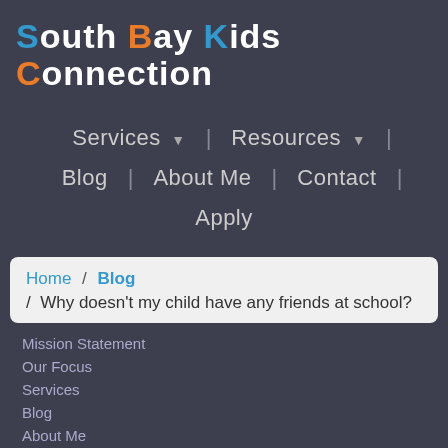South Bay Kids Connection
Services ▼  |  Resources ▼  |  Blog  |  About Me  |  Contact  |  Apply
Home / Blog / Why doesn't my child have any friends at school?
Mission Statement
Our Focus
Services
Blog
About Me